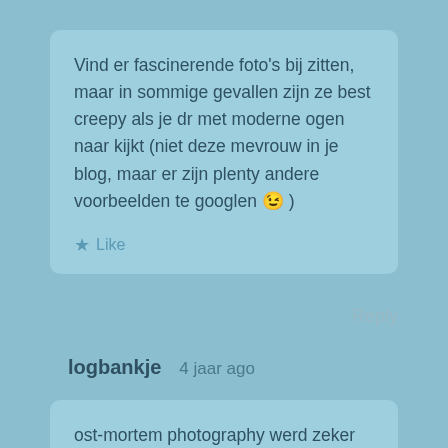Vind er fascinerende foto's bij zitten, maar in sommige gevallen zijn ze best creepy als je dr met moderne ogen naar kijkt (niet deze mevrouw in je blog, maar er zijn plenty andere voorbeelden te googlen 😉 )
Like
Reply
logbankje  4 jaar ago
ost-mortem photography werd zeker regelmatig gedaan, zelfs met de